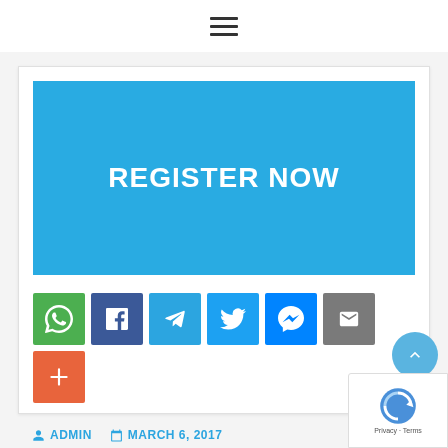Navigation bar with hamburger menu icon
[Figure (other): Blue banner image with bold white text 'REGISTER NOW' on a light blue (#29abe2) background]
[Figure (other): Row of social share buttons: WhatsApp (green), Facebook (dark blue), Telegram (blue), Twitter (light blue), Messenger (blue), Email (gray), and a plus/more button (orange-red)]
ADMIN   MARCH 6, 2017